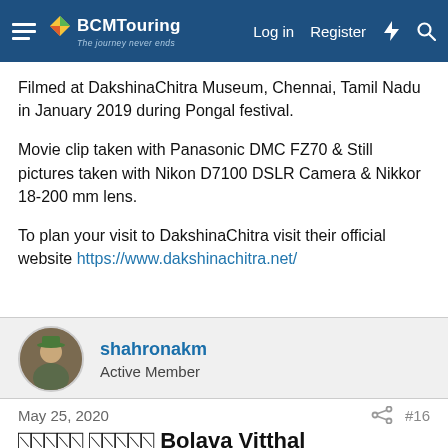BCMTouring — Log in | Register
Filmed at DakshinaChitra Museum, Chennai, Tamil Nadu in January 2019 during Pongal festival.
Movie clip taken with Panasonic DMC FZ70 & Still pictures taken with Nikon D7100 DSLR Camera & Nikkor 18-200 mm lens.
To plan your visit to DakshinaChitra visit their official website https://www.dakshinachitra.net/
shahronakm
Active Member
May 25, 2020
#16
ॐॐॐॐॐ ॐॐॐॐॐ Bolava Vitthal